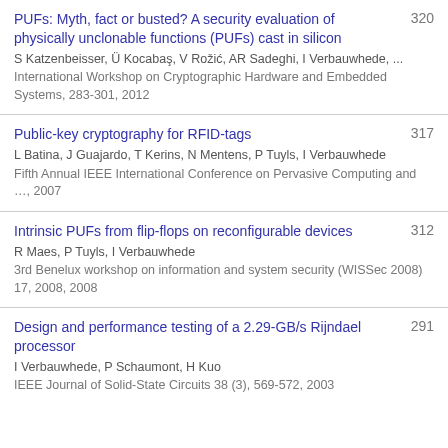PUFs: Myth, fact or busted? A security evaluation of physically unclonable functions (PUFs) cast in silicon
S Katzenbeisser, Ü Kocabaş, V Rožić, AR Sadeghi, I Verbauwhede, ...
International Workshop on Cryptographic Hardware and Embedded Systems, 283-301, 2012
320
Public-key cryptography for RFID-tags
L Batina, J Guajardo, T Kerins, N Mentens, P Tuyls, I Verbauwhede
Fifth Annual IEEE International Conference on Pervasive Computing and …, 2007
317
Intrinsic PUFs from flip-flops on reconfigurable devices
R Maes, P Tuyls, I Verbauwhede
3rd Benelux workshop on information and system security (WISSec 2008) 17, 2008, 2008
312
Design and performance testing of a 2.29-GB/s Rijndael processor
I Verbauwhede, P Schaumont, H Kuo
IEEE Journal of Solid-State Circuits 38 (3), 569-572, 2003
291